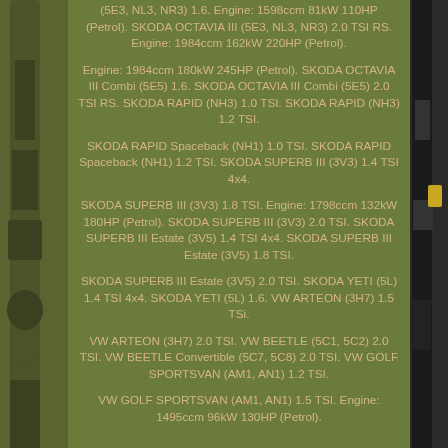(5E3, NL3, NR3) 1.6. Engine: 1598ccm 81kW 110HP (Petrol). SKODA OCTAVIA III (5E3, NL3, NR3) 2.0 TSI RS. Engine: 1984ccm 162kW 220HP (Petrol).
Engine: 1984ccm 180kW 245HP (Petrol). SKODA OCTAVIA III Combi (5E5) 1.6. SKODA OCTAVIA III Combi (5E5) 2.0 TSI RS. SKODA RAPID (NH3) 1.0 TSI. SKODA RAPID (NH3) 1.2 TSI.
SKODA RAPID Spaceback (NH1) 1.0 TSI. SKODA RAPID Spaceback (NH1) 1.2 TSI. SKODA SUPERB III (3V3) 1.4 TSI 4x4.
SKODA SUPERB III (3V3) 1.8 TSI. Engine: 1798ccm 132kW 180HP (Petrol). SKODA SUPERB III (3V3) 2.0 TSI. SKODA SUPERB III Estate (3V5) 1.4 TSI 4x4. SKODA SUPERB III Estate (3V5) 1.8 TSI.
SKODA SUPERB III Estate (3V5) 2.0 TSI. SKODA YETI (5L) 1.4 TSI 4x4. SKODA YETI (5L) 1.6. VW ARTEON (3H7) 1.5 TSi.
VW ARTEON (3H7) 2.0 TSI. VW BEETLE (5C1, 5C2) 2.0 TSI. VW BEETLE Convertible (5C7, 5C8) 2.0 TSI. VW GOLF SPORTSVAN (AM1, AN1) 1.2 TSI.
VW GOLF SPORTSVAN (AM1, AN1) 1.5 TSI. Engine: 1495ccm 96kW 130HP (Petrol).